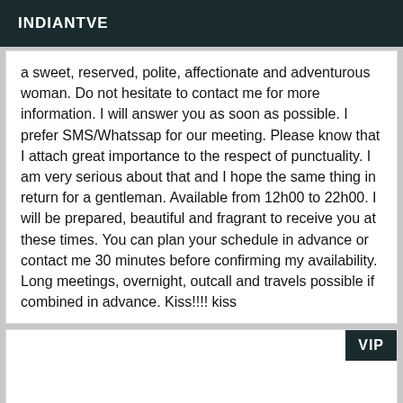INDIANTVE
a sweet, reserved, polite, affectionate and adventurous woman. Do not hesitate to contact me for more information. I will answer you as soon as possible. I prefer SMS/Whatssap for our meeting. Please know that I attach great importance to the respect of punctuality. I am very serious about that and I hope the same thing in return for a gentleman. Available from 12h00 to 22h00. I will be prepared, beautiful and fragrant to receive you at these times. You can plan your schedule in advance or contact me 30 minutes before confirming my availability. Long meetings, overnight, outcall and travels possible if combined in advance. Kiss!!!! kiss
[Figure (other): VIP badge card placeholder with white background and dark VIP label in top right corner]